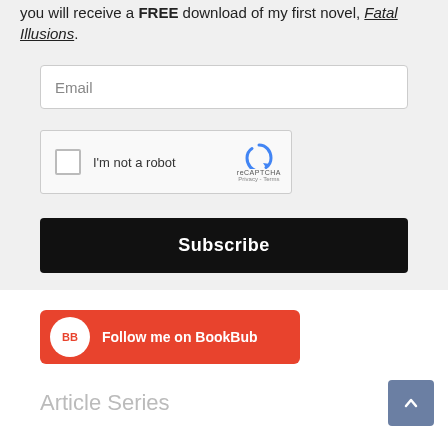you will receive a FREE download of my first novel, Fatal Illusions.
[Figure (screenshot): Email input field with placeholder text 'Email']
[Figure (screenshot): reCAPTCHA widget with checkbox 'I'm not a robot']
[Figure (screenshot): Black Subscribe button]
[Figure (screenshot): Red BookBub follow banner with BB logo and text 'Follow me on BookBub']
Article Series